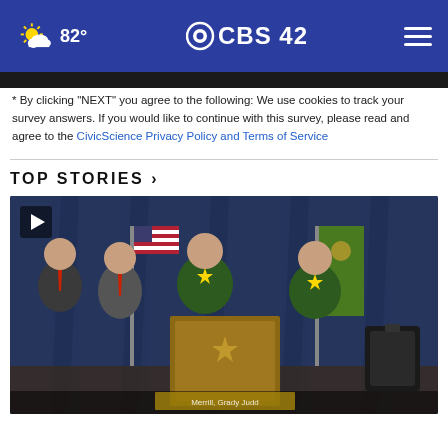82° CBS 42
* By clicking "NEXT" you agree to the following: We use cookies to track your survey answers. If you would like to continue with this survey, please read and agree to the CivicScience Privacy Policy and Terms of Service
TOP STORIES ›
[Figure (photo): Law enforcement press conference with sheriff officers in green uniforms standing at a podium in front of blue curtains and American and state flags. A play button overlay is visible in the top left corner.]